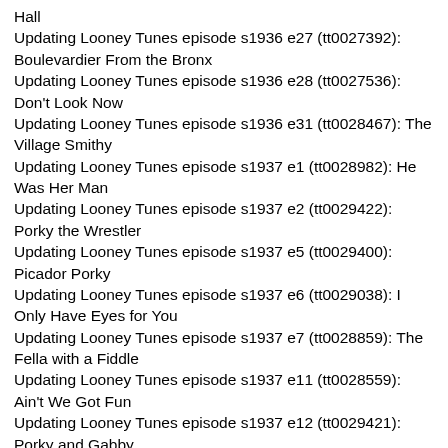Hall
Updating Looney Tunes episode s1936 e27 (tt0027392): Boulevardier From the Bronx
Updating Looney Tunes episode s1936 e28 (tt0027536): Don't Look Now
Updating Looney Tunes episode s1936 e31 (tt0028467): The Village Smithy
Updating Looney Tunes episode s1937 e1 (tt0028982): He Was Her Man
Updating Looney Tunes episode s1937 e2 (tt0029422): Porky the Wrestler
Updating Looney Tunes episode s1937 e5 (tt0029400): Picador Porky
Updating Looney Tunes episode s1937 e6 (tt0029038): I Only Have Eyes for You
Updating Looney Tunes episode s1937 e7 (tt0028859): The Fella with a Fiddle
Updating Looney Tunes episode s1937 e11 (tt0028559): Ain't We Got Fun
Updating Looney Tunes episode s1937 e12 (tt0029421): Porky and Gabby
Updating Looney Tunes episode s1937 e15 (tt0029424): Porky's Building
Updating Looney Tunes episode s1937 e16 (tt0029614): Streamlined Greta Green